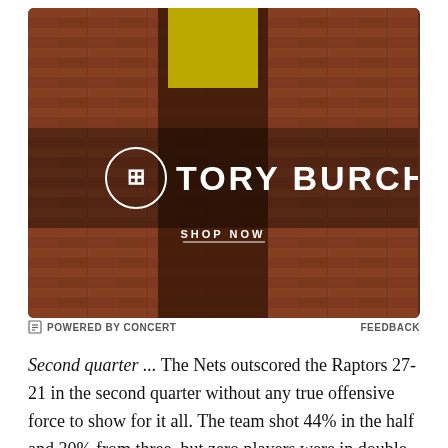[Figure (photo): Tory Burch advertisement banner showing a model in a brown dress against a brick wall background, with the Tory Burch logo and 'SHOP NOW' text overlay]
⊟ POWERED BY CONCERT    FEEDBACK
Second quarter ... The Nets outscored the Raptors 27-21 in the second quarter without any true offensive force to show for it all. The team shot 44% in the half and 30% from three, but zero players were in double figures. They did however receive a nine-point first half from Alan Anderson and eight points from Jarrett Jack. Brook Lopez has played well of late but struggled in